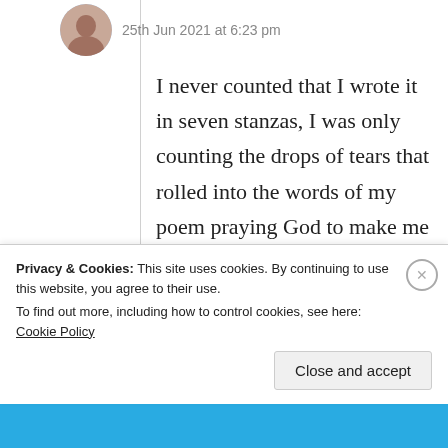25th Jun 2021 at 6:23 pm
I never counted that I wrote it in seven stanzas, I was only counting the drops of tears that rolled into the words of my poem praying God to make me to walk in his way to cross my rough path. How can I miss to say that your comments are always and forever my precious Jewelz. Thank you very much Prince
Privacy & Cookies: This site uses cookies. By continuing to use this website, you agree to their use.
To find out more, including how to control cookies, see here: Cookie Policy
Close and accept